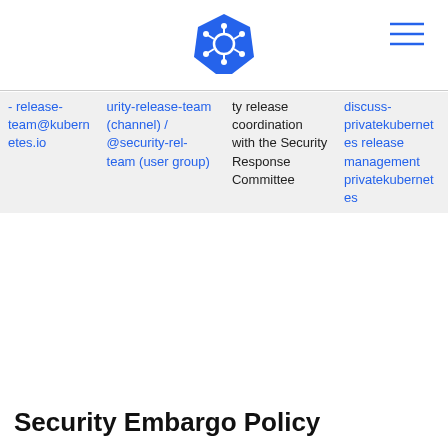[Figure (logo): Kubernetes helm/ship wheel logo in blue, hexagonal shape]
| -release-team@kubernetes.io | urity-release-team (channel) / @security-rel-team (user group) | ty release coordination with the Security Response Committee | discuss-privatekubernetes release management privatekubernetes |
Security Embargo Policy